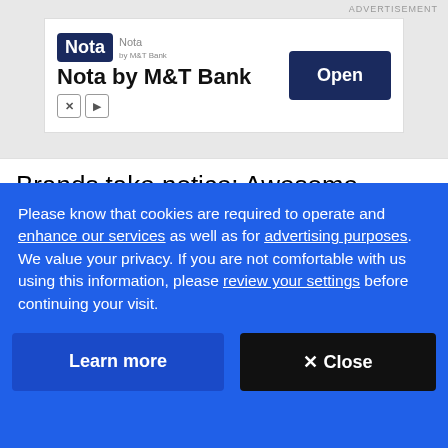ADVERTISEMENT
[Figure (screenshot): Advertisement banner for Nota by M&T Bank with logo, tagline, and Open button]
Brands take notice: Awesome #socialmedia engagement from Woolworths: spaghetti song goes viral on Facebook news.com.au/finance/busine…
11:38 AM · Sep 30, 2015
Please know that cookies are required to operate and enhance our services as well as for advertising purposes. We value your privacy. If you are not comfortable with us using this information, please review your settings before continuing your visit.
Learn more   ✕ Close